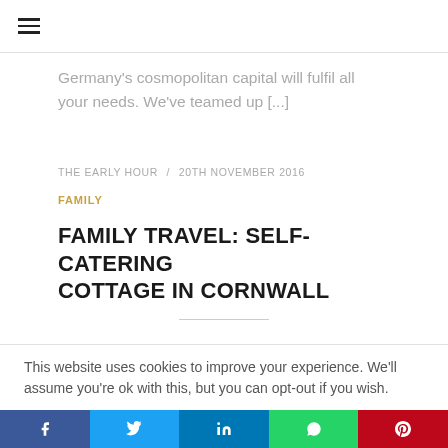≡
Germany's cosmopolitan capital will fulfil all your needs. We've teamed up [...]
THE EARLY HOUR / 20TH NOVEMBER 2016
FAMILY
FAMILY TRAVEL: SELF-CATERING COTTAGE IN CORNWALL
This website uses cookies to improve your experience. We'll assume you're ok with this, but you can opt-out if you wish.